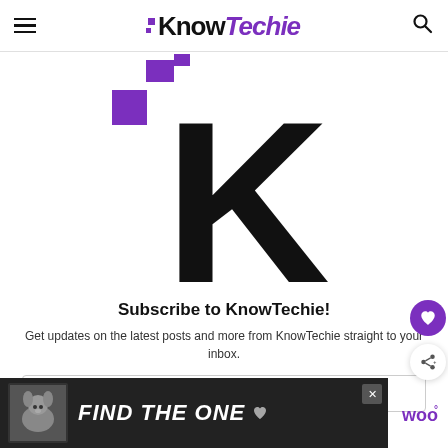KnowTechie
[Figure (logo): KnowTechie large K logo with purple square accent marks on white background]
Subscribe to KnowTechie!
Get updates on the latest posts and more from KnowTechie straight to your inbox.
First Name (optional)
[Figure (infographic): Advertisement banner: dark background with dog photo and text FIND THE ONE with heart icon]
[Figure (logo): Woo logo in purple on white]